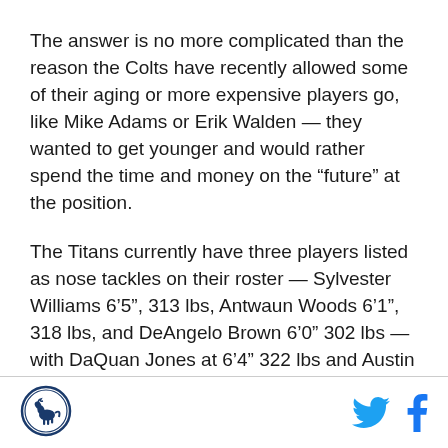The answer is no more complicated than the reason the Colts have recently allowed some of their aging or more expensive players go, like Mike Adams or Erik Walden — they wanted to get younger and would rather spend the time and money on the “future” at the position.
The Titans currently have three players listed as nose tackles on their roster — Sylvester Williams 6’5”, 313 lbs, Antwaun Woods 6’1”, 318 lbs, and DeAngelo Brown 6’0” 302 lbs — with DaQuan Jones at 6’4” 322 lbs and Austin Johnson at 6’4”, 314 lbs. The most tenured player on that list is Williams with five years in the NFL and only two of those players were slated to
[Figure (logo): Circular logo with horse/mustang icon and blue border]
[Figure (logo): Twitter bird icon in blue and Facebook f icon in blue]